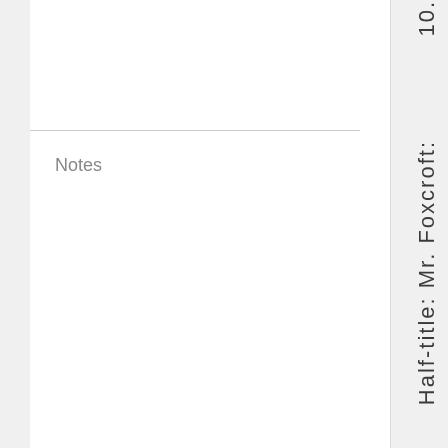10.
Notes
Half-title: Mr. Foxcroft: